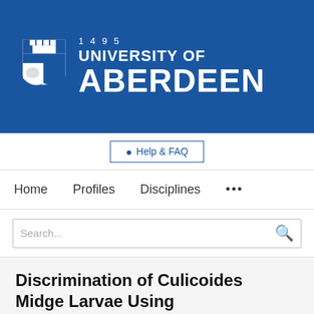[Figure (logo): University of Aberdeen logo on blue banner background with shield crest, year 1495, and university name in white text]
Help & FAQ
Home   Profiles   Disciplines   ...
Search...
Discrimination of Culicoides Midge Larvae Using Multiplex Polymerase Chain Reaction Assays Based on DNA Sequence Variation